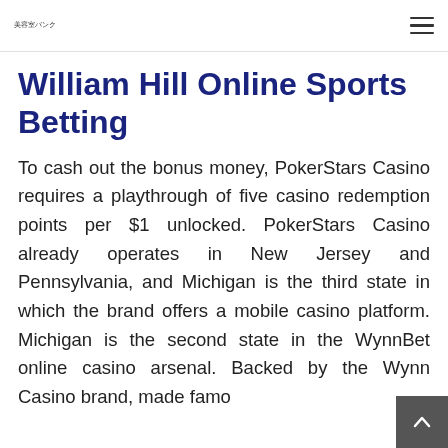美容室バンク
William Hill Online Sports Betting
To cash out the bonus money, PokerStars Casino requires a playthrough of five casino redemption points per $1 unlocked. PokerStars Casino already operates in New Jersey and Pennsylvania, and Michigan is the third state in which the brand offers a mobile casino platform. Michigan is the second state in the WynnBet online casino arsenal. Backed by the Wynn Casino brand, made famo